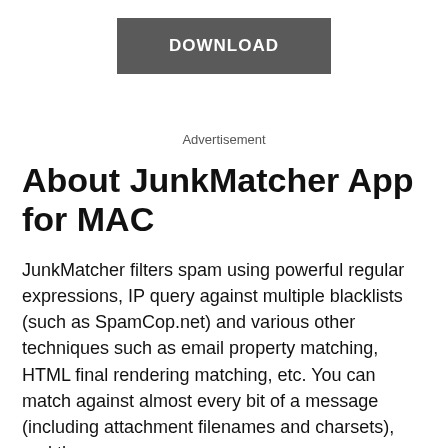[Figure (other): DOWNLOAD button — dark grey rectangle with white uppercase text]
Advertisement
About JunkMatcher App for MAC
JunkMatcher filters spam using powerful regular expressions, IP query against multiple blacklists (such as SpamCop.net) and various other techniques such as email property matching, HTML final rendering matching, etc. You can match against almost every bit of a message (including attachment filenames and charsets), and the